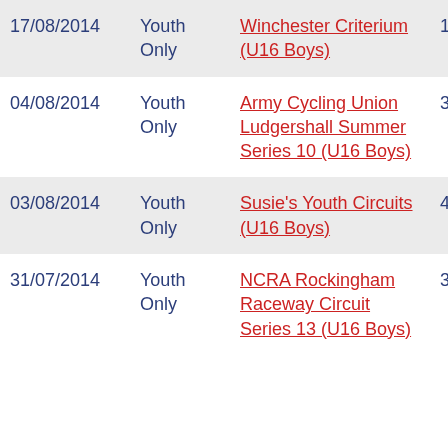| Date | Category | Event | Position | Points |
| --- | --- | --- | --- | --- |
| 17/08/2014 | Youth Only | Winchester Criterium (U16 Boys) | 15 | 0 |
| 04/08/2014 | Youth Only | Army Cycling Union Ludgershall Summer Series 10 (U16 Boys) | 3 | 1 |
| 03/08/2014 | Youth Only | Susie's Youth Circuits (U16 Boys) | 43 | 0 |
| 31/07/2014 | Youth Only | NCRA Rockingham Raceway Circuit Series 13 (U16 Boys) | 3 | 1 |